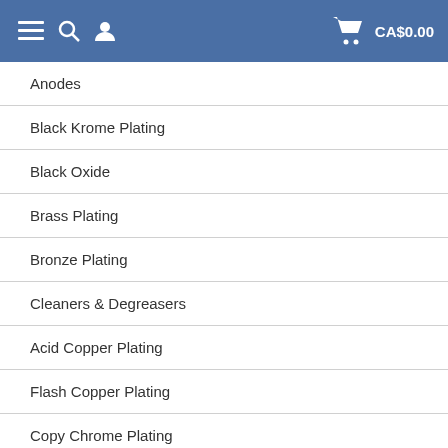Menu | Search | User | CA$0.00
Anodes
Black Krome Plating
Black Oxide
Brass Plating
Bronze Plating
Cleaners & Degreasers
Acid Copper Plating
Flash Copper Plating
Copy Chrome Plating
Electroless Plating
Filtering Products
Gold Plating
Masking-Supplies-plating
MetalX Nickel & Copper Strippers